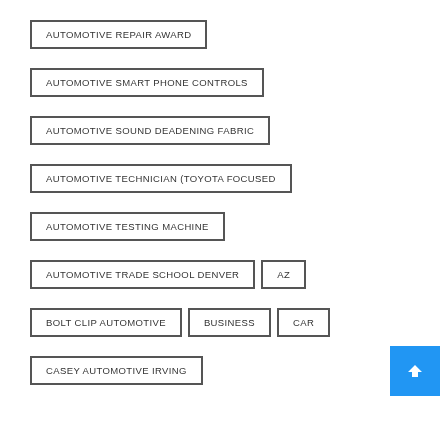AUTOMOTIVE REPAIR AWARD
AUTOMOTIVE SMART PHONE CONTROLS
AUTOMOTIVE SOUND DEADENING FABRIC
AUTOMOTIVE TECHNICIAN (TOYOTA FOCUSED
AUTOMOTIVE TESTING MACHINE
AUTOMOTIVE TRADE SCHOOL DENVER
AZ
BOLT CLIP AUTOMOTIVE
BUSINESS
CAR
CASEY AUTOMOTIVE IRVING